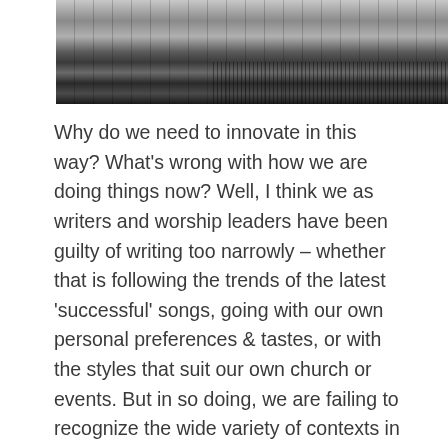[Figure (photo): Black and white close-up photograph of piano keys and internal piano mechanism]
Why do we need to innovate in this way? What's wrong with how we are doing things now? Well, I think we as writers and worship leaders have been guilty of writing too narrowly – whether that is following the trends of the latest 'successful' songs, going with our own personal preferences & tastes, or with the styles that suit our own church or events. But in so doing, we are failing to recognize the wide variety of contexts in which the people of God gather to worship.
In some small congregations, the competence and resources aren't there to provide a musical